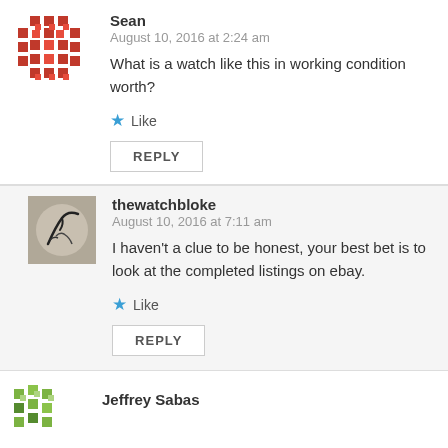[Figure (illustration): Red pixel/mosaic pattern avatar for Sean]
Sean
August 10, 2016 at 2:24 am
What is a watch like this in working condition worth?
Like
REPLY
[Figure (photo): Avatar image for thewatchbloke showing a watch hand/arm sketch]
thewatchbloke
August 10, 2016 at 7:11 am
I haven't a clue to be honest, your best bet is to look at the completed listings on ebay.
Like
REPLY
[Figure (illustration): Green/yellow mosaic pattern avatar for Jeffrey Sabas]
Jeffrey Sabas